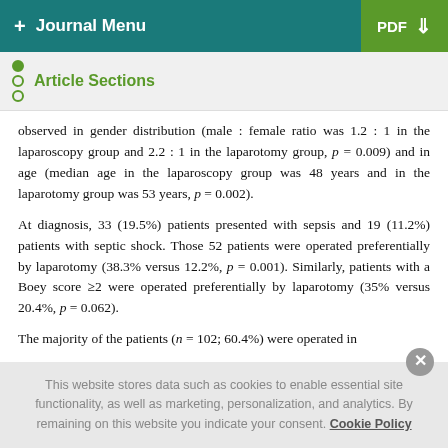+ Journal Menu | PDF ↓
Article Sections
observed in gender distribution (male : female ratio was 1.2 : 1 in the laparoscopy group and 2.2 : 1 in the laparotomy group, p = 0.009) and in age (median age in the laparoscopy group was 48 years and in the laparotomy group was 53 years, p = 0.002).
At diagnosis, 33 (19.5%) patients presented with sepsis and 19 (11.2%) patients with septic shock. Those 52 patients were operated preferentially by laparotomy (38.3% versus 12.2%, p = 0.001). Similarly, patients with a Boey score ≥2 were operated preferentially by laparotomy (35% versus 20.4%, p = 0.062).
The majority of the patients (n = 102; 60.4%) were operated in
This website stores data such as cookies to enable essential site functionality, as well as marketing, personalization, and analytics. By remaining on this website you indicate your consent. Cookie Policy